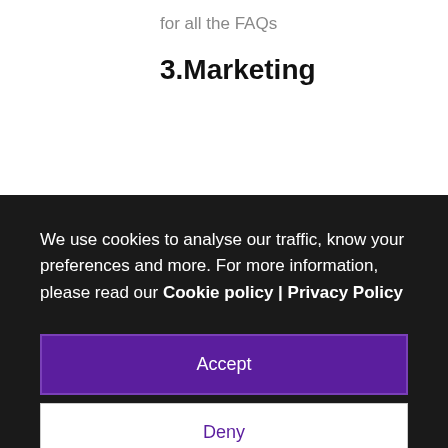for all the FAQs
3.Marketing
We use cookies to analyse our traffic, know your preferences and more. For more information, please read our Cookie policy | Privacy Policy
Accept
Deny
engagement is that they can respond to customers immediately thereby increasing customer satisfaction and